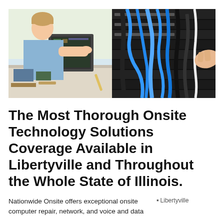[Figure (photo): Split image: left side shows a technician repairing a desktop computer with components spread on a table; right side shows hands working with blue and black network cables in a server rack.]
The Most Thorough Onsite Technology Solutions Coverage Available in Libertyville and Throughout the Whole State of Illinois.
Nationwide Onsite offers exceptional onsite computer repair, network, and voice and data
[Figure (photo): Libertyville Illinois thumbnail image placeholder]